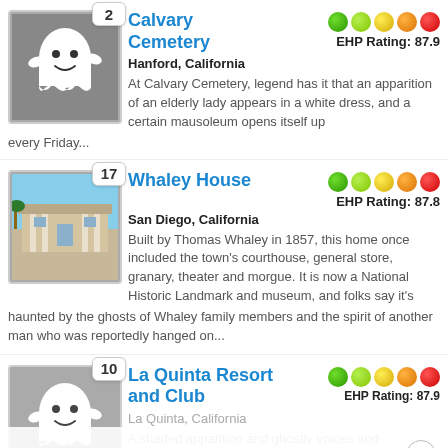[Figure (illustration): Ghost mascot icon on grey background with badge number 2]
Calvary Cemetery
[Figure (illustration): Five rating dots: green, light-green, yellow, orange, red]
EHP Rating: 87.9
Hanford, California
At Calvary Cemetery, legend has it that an apparition of an elderly lady appears in a white dress, and a certain mausoleum opens itself up every Friday...
[Figure (photo): Photo of Whaley House exterior with badge number 17]
Whaley House
[Figure (illustration): Five rating dots: green, light-green, yellow, orange, red]
EHP Rating: 87.8
San Diego, California
Built by Thomas Whaley in 1857, this home once included the town's courthouse, general store, granary, theater and morgue. It is now a National Historic Landmark and museum, and folks say it's haunted by the ghosts of Whaley family members and the spirit of another man who was reportedly hanged on...
[Figure (illustration): Ghost mascot icon on grey background with badge number 10]
La Quinta Resort and Club
[Figure (illustration): Five rating dots: green, light-green, yellow, orange, red]
EHP Rating: 87.9
La Quinta, California
A shaded apparition and ghostly voices and